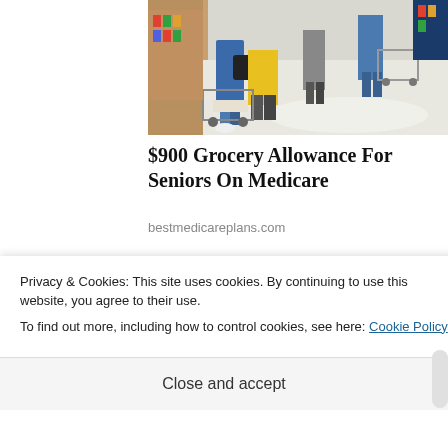[Figure (photo): People shopping in a store aisle with shopping carts, top-cropped photo showing legs and carts in a grocery/retail store]
$900 Grocery Allowance For Seniors On Medicare
bestmedicareplans.com
[Figure (photo): Close-up of a red car engine, thumbnail image for article]
AAA Says Not To Buy These 15 Cars No Matter What
Privacy & Cookies: This site uses cookies. By continuing to use this website, you agree to their use.
To find out more, including how to control cookies, see here: Cookie Policy
Close and accept